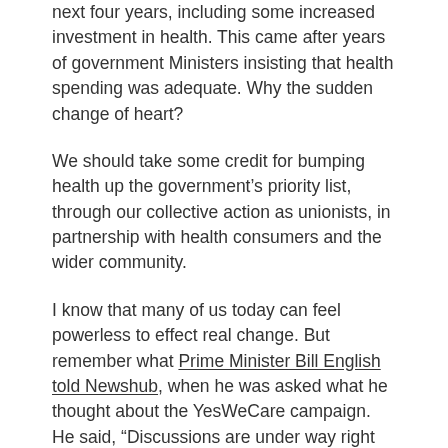next four years, including some increased investment in health. This came after years of government Ministers insisting that health spending was adequate. Why the sudden change of heart?
We should take some credit for bumping health up the government's priority list, through our collective action as unionists, in partnership with health consumers and the wider community.
I know that many of us today can feel powerless to effect real change. But remember what Prime Minister Bill English told Newshub, when he was asked what he thought about the YesWeCare campaign. He said, “Discussions are under way right now about the next Budget. So yeah, we do pay attention to the views of people on the front line because they’re a pretty good measure of what’s happening.” We have already made a difference.